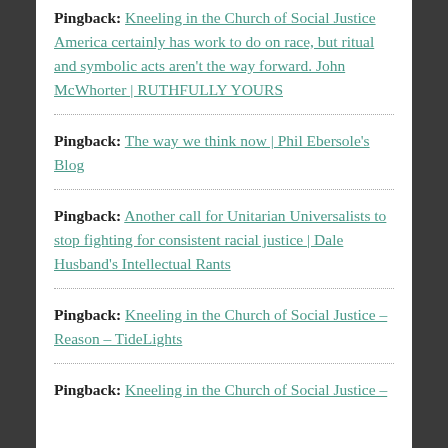Pingback: Kneeling in the Church of Social Justice America certainly has work to do on race, but ritual and symbolic acts aren't the way forward. John McWhorter | RUTHFULLY YOURS
Pingback: The way we think now | Phil Ebersole's Blog
Pingback: Another call for Unitarian Universalists to stop fighting for consistent racial justice | Dale Husband's Intellectual Rants
Pingback: Kneeling in the Church of Social Justice – Reason – TideLights
Pingback: Kneeling in the Church of Social Justice –